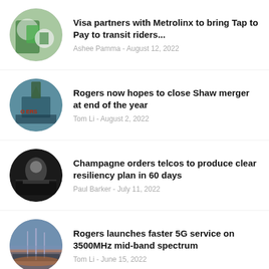Visa partners with Metrolinx to bring Tap to Pay to transit riders...
Ashee Pamma - August 12, 2022
Rogers now hopes to close Shaw merger at end of the year
Tom Li - August 2, 2022
Champagne orders telcos to produce clear resiliency plan in 60 days
Paul Barker - July 11, 2022
Rogers launches faster 5G service on 3500MHz mid-band spectrum
Tom Li - June 15, 2022